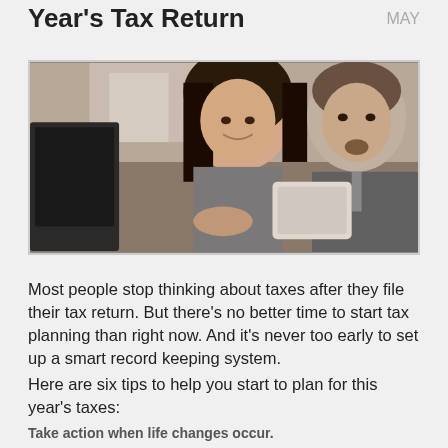Year's Tax Return
MAY
[Figure (photo): Two business professionals, a woman and a man in a suit, looking at a tablet device together in an office setting.]
Most people stop thinking about taxes after they file their tax return. But there's no better time to start tax planning than right now. And it's never too early to set up a smart record keeping system.
Here are six tips to help you start to plan for this year's taxes:
Take action when life changes occur.